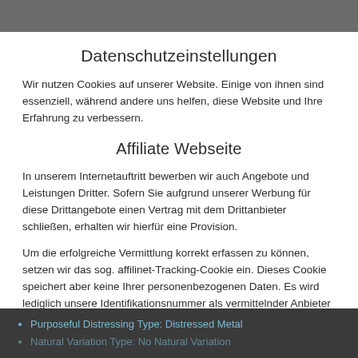Datenschutzeinstellungen
Wir nutzen Cookies auf unserer Website. Einige von ihnen sind essenziell, während andere uns helfen, diese Website und Ihre Erfahrung zu verbessern.
Affiliate Webseite
In unserem Internetauftritt bewerben wir auch Angebote und Leistungen Dritter. Sofern Sie aufgrund unserer Werbung für diese Drittangebote einen Vertrag mit dem Drittanbieter schließen, erhalten wir hierfür eine Provision.
Um die erfolgreiche Vermittlung korrekt erfassen zu können, setzen wir das sog. affilinet-Tracking-Cookie ein. Dieses Cookie speichert aber keine Ihrer personenbezogenen Daten. Es wird lediglich unsere Identifikationsnummer als vermittelnder Anbieter sowie die Ordnungsnummer des von
Purposeful Distressing Type: Distressed Metal
Natural Variation Type: No Natural Variation